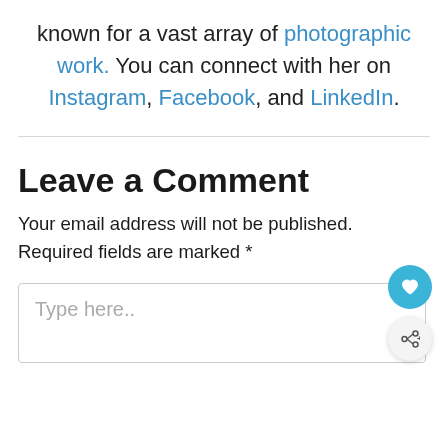known for a vast array of photographic work. You can connect with her on Instagram, Facebook, and LinkedIn.
Leave a Comment
Your email address will not be published. Required fields are marked *